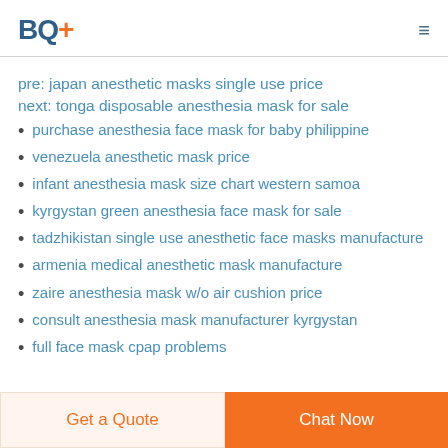BQ+
pre: japan anesthetic masks single use price
next: tonga disposable anesthesia mask for sale
purchase anesthesia face mask for baby philippine
venezuela anesthetic mask price
infant anesthesia mask size chart western samoa
kyrgystan green anesthesia face mask for sale
tadzhikistan single use anesthetic face masks manufacture
armenia medical anesthetic mask manufacture
zaire anesthesia mask w/o air cushion price
consult anesthesia mask manufacturer kyrgystan
full face mask cpap problems
Get a Quote | Chat Now